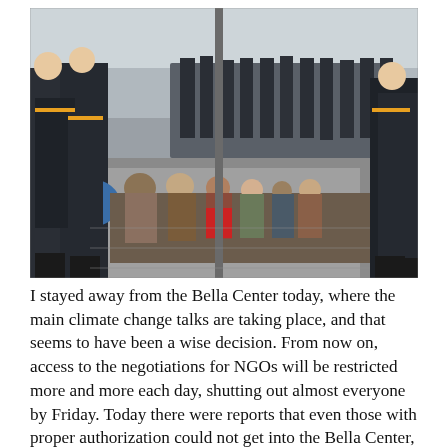[Figure (photo): Police officers in dark uniforms with yellow markings stand over a group of protesters/demonstrators who are sitting on a sidewalk. The scene appears to be outdoors in an urban setting, likely during a climate change protest in Copenhagen near the Bella Center.]
I stayed away from the Bella Center today, where the main climate change talks are taking place, and that seems to have been a wise decision. From now on, access to the negotiations for NGOs will be restricted more and more each day, shutting out almost everyone by Friday. Today there were reports that even those with proper authorization could not get into the Bella Center, creating a feedback loop: the more people are denied access, the more frustrated they get, increasing the passion and size